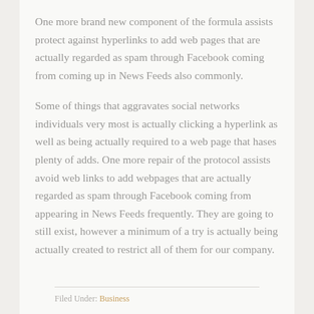One more brand new component of the formula assists protect against hyperlinks to add web pages that are actually regarded as spam through Facebook coming from coming up in News Feeds also commonly.
Some of things that aggravates social networks individuals very most is actually clicking a hyperlink as well as being actually required to a web page that hases plenty of adds. One more repair of the protocol assists avoid web links to add webpages that are actually regarded as spam through Facebook coming from appearing in News Feeds frequently. They are going to still exist, however a minimum of a try is actually being actually created to restrict all of them for our company.
Filed Under: Business